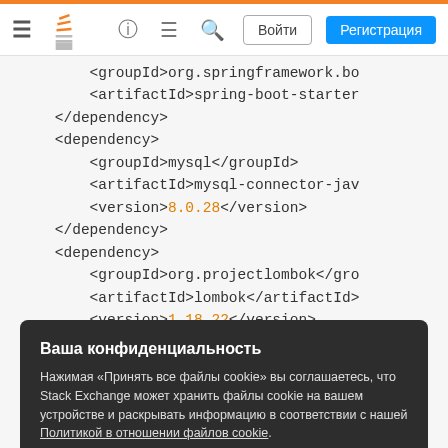Stack Overflow navigation bar with logo, icons, Войти and Регистрация buttons
<groupId>org.springframework.bo
<artifactId>spring-boot-starter
</dependency>
<dependency>
    <groupId>mysql</groupId>
    <artifactId>mysql-connector-jav
    <version>8.0.28</version>
</dependency>
<dependency>
    <groupId>org.projectlombok</gro
    <artifactId>lombok</artifactId>
    <version>1.18.22</version>
    <scope>provided</scope>
Ваша конфиденциальность
Нажимая «Принять все файлы cookie» вы соглашаетесь, что Stack Exchange может хранить файлы cookie на вашем устройстве и раскрывать информацию в соответствии с нашей Политикой в отношении файлов cookie.
Принять все файлы cookie   Настроить параметры
plugins
<plugin>